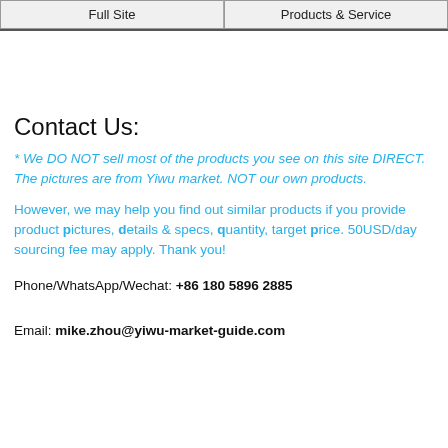Full Site | Products & Service
Contact Us:
* We DO NOT sell most of the products you see on this site DIRECT. The pictures are from Yiwu market. NOT our own products.
However, we may help you find out similar products if you provide product pictures, details & specs, quantity, target price. 50USD/day sourcing fee may apply. Thank you!
Phone/WhatsApp/Wechat: +86 180 5896 2885
Email: mike.zhou@yiwu-market-guide.com